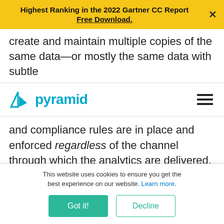Highest Ranking in the 2022 Gartner CC Report
Free Download.
create and maintain multiple copies of the same data—or mostly the same data with subtle
[Figure (logo): Pyramid Analytics logo with triangular icon and teal 'pyramid' wordmark, plus hamburger menu icon on the right]
and compliance rules are in place and enforced regardless of the channel through which the analytics are delivered. Once assembled, it should be very simple to deploy analytics anywhere based on the needs of the consumer
This website uses cookies to ensure you get the best experience on our website. Learn more.